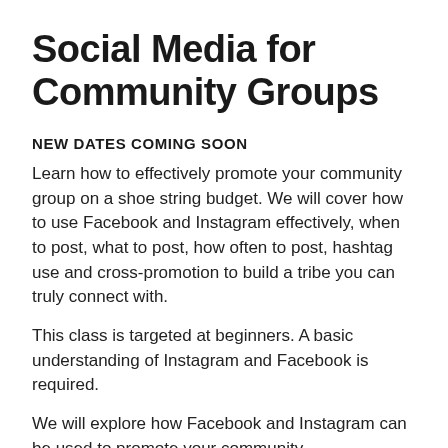Social Media for Community Groups
NEW DATES COMING SOON
Learn how to effectively promote your community group on a shoe string budget. We will cover how to use Facebook and Instagram effectively, when to post, what to post, how often to post, hashtag use and cross-promotion to build a tribe you can truly connect with.
This class is targeted at beginners. A basic understanding of Instagram and Facebook is required.
We will explore how Facebook and Instagram can be used to promote your community